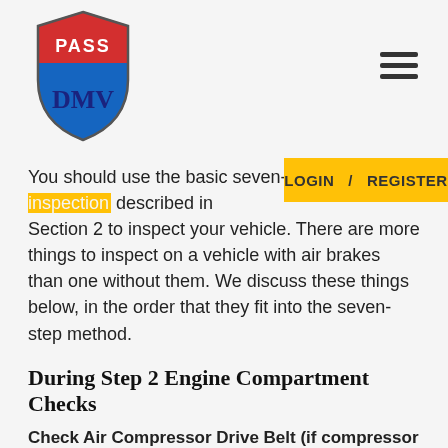[Figure (logo): Pass DMV shield logo with red top and blue bottom, text PASS in white on red, DMV in dark blue on blue]
LOGIN / REGISTER
You should use the basic seven-step pre-trip inspection described in Section 2 to inspect your vehicle. There are more things to inspect on a vehicle with air brakes than one without them. We discuss these things below, in the order that they fit into the seven-step method.
During Step 2 Engine Compartment Checks
Check Air Compressor Drive Belt (if compressor is belt driven). If the air compressor is belt-driven, check the condition and tightness of the belt. The belt should be in good condition.
During Step 5 Walkaround Inspecting